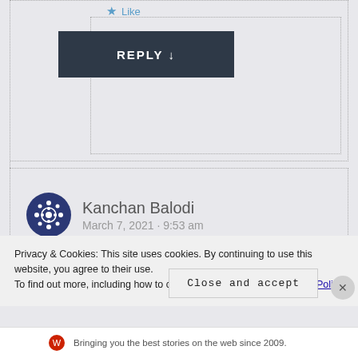Like
REPLY ↓
Kanchan Balodi
March 7, 2021 · 9:53 am
Privacy & Cookies: This site uses cookies. By continuing to use this website, you agree to their use.
To find out more, including how to control cookies, see here: Cookie Policy
Close and accept
Bringing you the best stories on the web since 2009.